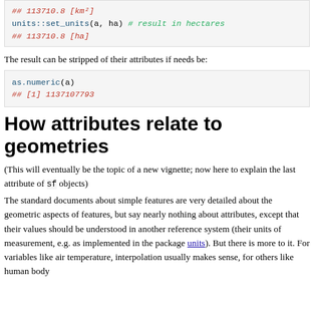[Figure (screenshot): Code block showing: units::set_units(a, ha) # result in hectares
## 113710.8 [ha]]
The result can be stripped of their attributes if needs be:
[Figure (screenshot): Code block showing: as.numeric(a)
## [1] 1137107793]
How attributes relate to geometries
(This will eventually be the topic of a new vignette; now here to explain the last attribute of sf objects)
The standard documents about simple features are very detailed about the geometric aspects of features, but say nearly nothing about attributes, except that their values should be understood in another reference system (their units of measurement, e.g. as implemented in the package units). But there is more to it. For variables like air temperature, interpolation usually makes sense, for others like human body